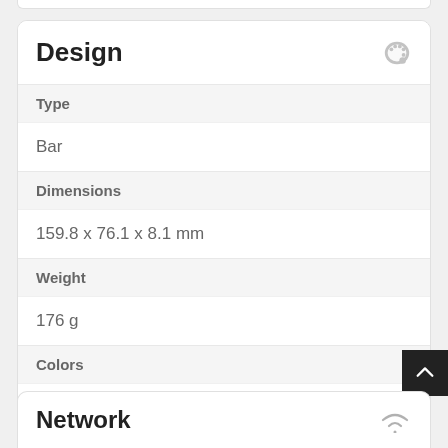Design
Type
Bar
Dimensions
159.8 x 76.1 x 8.1 mm
Weight
176 g
Colors
Black, Blue, Green
Network